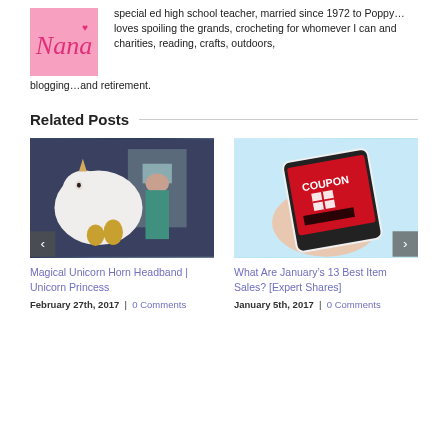[Figure (illustration): Pink Nana logo with cursive text and heart]
special ed high school teacher, married since 1972 to Poppy...loves spoiling the grands, crocheting for whomever I can and charities, reading, crafts, outdoors, blogging...and retirement.
Related Posts
[Figure (photo): Girl holding a large stuffed unicorn toy]
Magical Unicorn Horn Headband | Unicorn Princess
February 27th, 2017  |  0 Comments
[Figure (photo): Hand holding a phone displaying a coupon app with red background]
What Are January’s 13 Best Item Sales? [Expert Shares]
January 5th, 2017  |  0 Comments